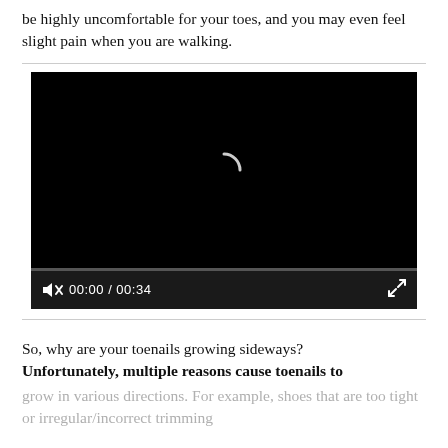be highly uncomfortable for your toes, and you may even feel slight pain when you are walking.
[Figure (screenshot): Video player with black screen showing a loading spinner. Controls show muted speaker icon, time 00:00 / 00:34, and a fullscreen button.]
So, why are your toenails growing sideways? Unfortunately, multiple reasons cause toenails to grow in various directions. For example, shoes that are too tight or irregular/incorrect trimming